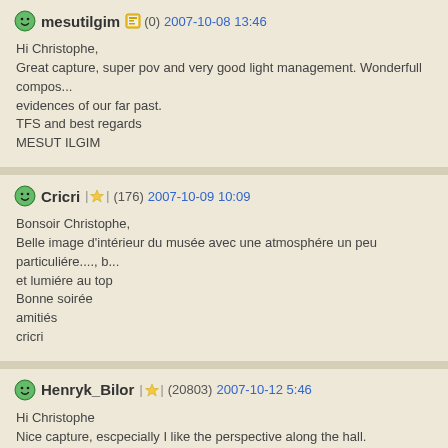mesutilgim (0) 2007-10-08 13:46
Hi Christophe,
Great capture, super pov and very good light management. Wonderfull compos... evidences of our far past.
TFS and best regards
MESUT ILGIM
Cricri (176) 2007-10-09 10:09
Bonsoir Christophe,
Belle image d'intérieur du musée avec une atmosphére un peu particuliére...., b... et lumiére au top
Bonne soirée
amitiés
cricri
Henryk_Bilor (20803) 2007-10-12 5:46
Hi Christophe
Nice capture, escpecially I like the perspective along the hall.
Regards